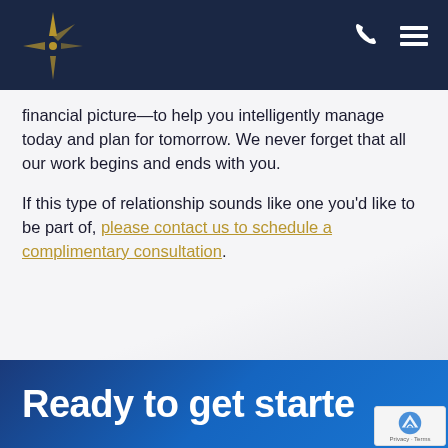[Financial advisory firm logo with compass star icon, phone icon, menu icon]
financial picture—to help you intelligently manage today and plan for tomorrow. We never forget that all our work begins and ends with you.
If this type of relationship sounds like one you'd like to be part of, please contact us to schedule a complimentary consultation.
Ready to get started